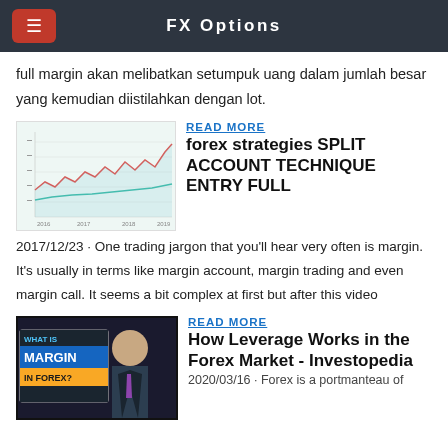FX Options
full margin akan melibatkan setumpuk uang dalam jumlah besar yang kemudian diistilahkan dengan lot.
[Figure (line-chart): Line chart showing multiple forex price lines (red, green, teal) trending upward over time]
READ MORE
forex strategies SPLIT ACCOUNT TECHNIQUE ENTRY FULL
2017/12/23 · One trading jargon that you'll hear very often is margin. It's usually in terms like margin account, margin trading and even margin call. It seems a bit complex at first but after this video
[Figure (photo): Photo of a man in a suit next to text overlay reading 'WHAT IS MARGIN IN FOREX?']
READ MORE
How Leverage Works in the Forex Market - Investopedia
2020/03/16 · Forex is a portmanteau of